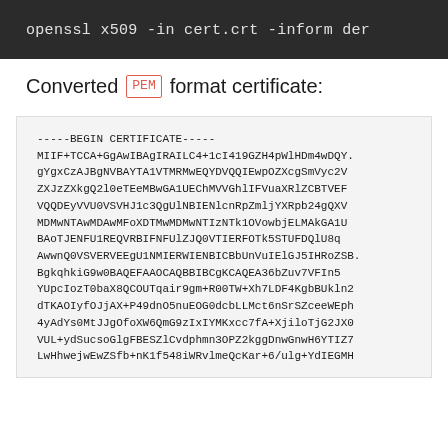openssl x509 -in cert.crt -inform der
Converted PEM format certificate:
-----BEGIN CERTIFICATE-----
MIIF+TCCA+GgAwIBAgIRAILC4+1cI419GZH4pWlHDm4wDQY.
gYgxCzAJBgNVBAYTA1VTMRMwEQYDVQQIEwpOZXcgSmVyc2V
ZXJzZXkgQ2l0eTEeMBwGA1UEChMVVGhlIFVuaXRlZCBTVEF
VQQDEyVVU0VSVHJ1c3QgUlNBIENlcnRpZmljYXRpb24gQXV
MDMwNTAwMDAwMFoXDTMwMDMwNTIzNTk1OVowbjELMAkGA1U
BAoTJENFU1REQVRBIFNFUlZJQ0VTIERFOTk5STUFDQlU8q
AwwnQ0VSVERVEEgU1NMIERWIENBICBbUnVuIElGJ5IHRoZSB.
BgkqhkiG9w0BAQEFAAOCAQBBIBCgKCAQEA36bZuv7VFIn5
YUpcIozT0baX8QCOUTqair9gm+R00TW+Xh7LDF4KgbBUkln2
dTKAOIyfOJjAX+P49dnO5nuEOG0dcbLLMct6nSrSZceeWEph
4yAdYs0MtJJgOfoXW6QmG9zIxIYMKxcc7fA+XjiloTjG2JX0
VUL+ydSucsoGlgFBESZlCvdphmn3OPZ2kggDnwGnwH6YTIZ7
LwHhwejwEwZSfb+nK1f548iWRvlmeQcKar+6/ulg+YdIEGMH